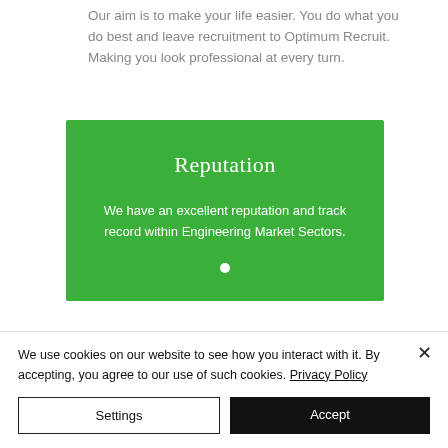Our aim is to make your life easier. You do what you do best and leave recruitment to Optimum Recruit. Making you look professional at every turn.
[Figure (infographic): Green box with title 'Reputation' and text 'We have an excellent reputation and track record within Engineering Market Sectors.' with a white dot indicator below.]
We use cookies on our website to see how you interact with it. By accepting, you agree to our use of such cookies. Privacy Policy
Settings
Accept